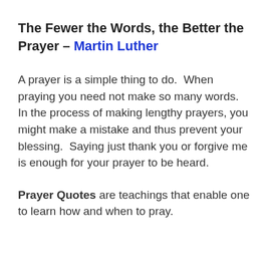The Fewer the Words, the Better the Prayer – Martin Luther
A prayer is a simple thing to do.  When praying you need not make so many words.  In the process of making lengthy prayers, you might make a mistake and thus prevent your blessing.  Saying just thank you or forgive me is enough for your prayer to be heard.
Prayer Quotes are teachings that enable one to learn how and when to pray.